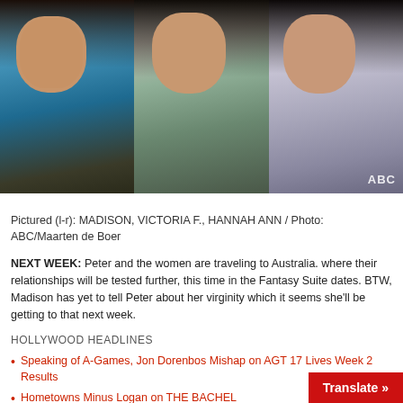[Figure (photo): Three women posing for headshots side by side (l-r): Madison in blue top, Victoria F. in floral blouse, Hannah Ann in white top. ABC watermark in bottom right.]
Pictured (l-r): MADISON, VICTORIA F., HANNAH ANN / Photo: ABC/Maarten de Boer
NEXT WEEK:  Peter and the women are traveling to Australia. where their relationships will be tested further, this time in the Fantasy Suite dates.  BTW, Madison has yet to tell Peter about her virginity which it seems she'll be getting to that next week.
HOLLYWOOD HEADLINES
Speaking of A-Games, Jon Dorenbos Mishap on AGT 17 Lives Week 2 Results
Hometowns Minus Logan on THE BACHEL